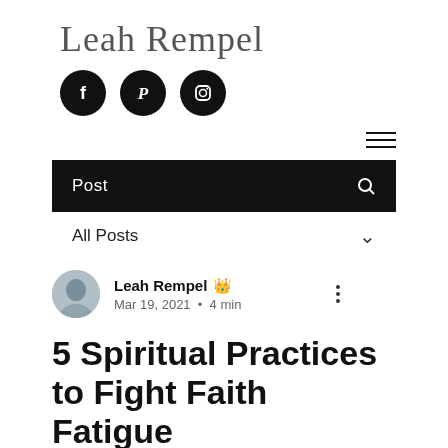Leah Rempel
[Figure (logo): Social media icons: Facebook, Pinterest, Instagram — black circles with white icons]
[Figure (infographic): Hamburger menu icon (three horizontal lines)]
Post
All Posts
Leah Rempel [admin crown icon]
Mar 19, 2021 • 4 min
5 Spiritual Practices to Fight Faith Fatigue